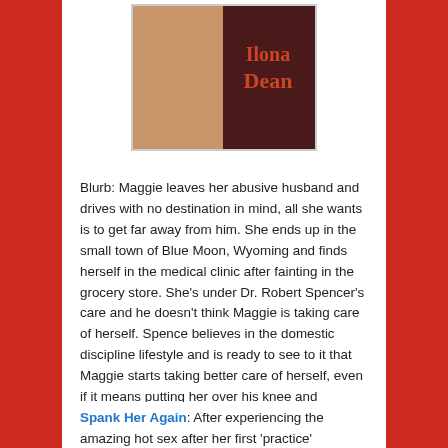[Figure (illustration): Book cover image showing partial view with author name 'Ilona Dean' in orange text on dark background]
Blurb: Maggie leaves her abusive husband and drives with no destination in mind, all she wants is to get far away from him. She ends up in the small town of Blue Moon, Wyoming and finds herself in the medical clinic after fainting in the grocery store. She's under Dr. Robert Spencer's care and he doesn't think Maggie is taking care of herself. Spence believes in the domestic discipline lifestyle and is ready to see to it that Maggie starts taking better care of herself, even if it means putting her over his knee and reddening her backside. But Maggie just left an abusive relationship and is unsure if she wants to get involved with a man who wants to spank her.
Spank Her Again: After experiencing the amazing hot sex after her first 'practice' spanking, Maggie asks for another spanking.